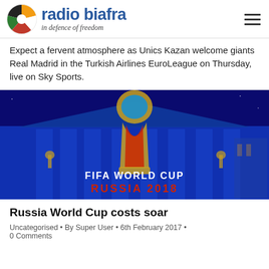radio biafra — in defence of freedom
Expect a fervent atmosphere as Unics Kazan welcome giants Real Madrid in the Turkish Airlines EuroLeague on Thursday, live on Sky Sports.
[Figure (photo): Nighttime photo of FIFA World Cup Russia 2018 logo projected on a grand building facade, with blue lighting and large text reading FIFA WORLD CUP RUSSIA 2018]
Russia World Cup costs soar
Uncategorised • By Super User • 6th February 2017 • 0 Comments